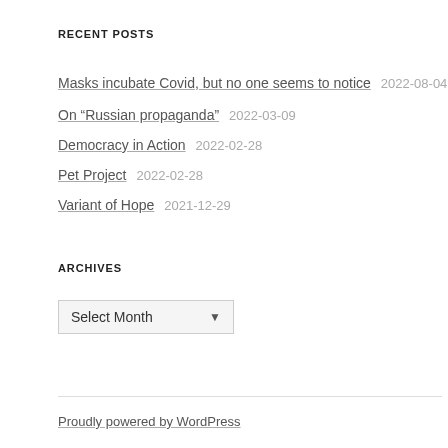RECENT POSTS
Masks incubate Covid, but no one seems to notice   2022-08-04
On “Russian propaganda”   2022-03-09
Democracy in Action   2022-02-28
Pet Project   2022-02-28
Variant of Hope   2021-12-29
ARCHIVES
Select Month
Proudly powered by WordPress